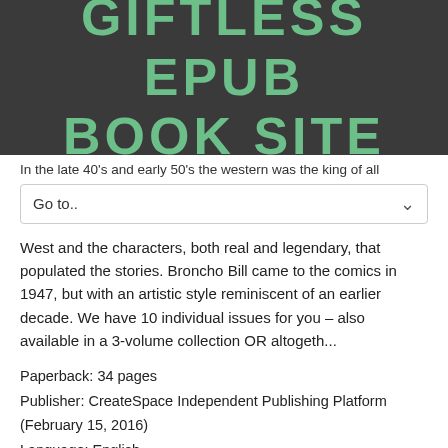GIFTLESS EPUB BOOK SITE
In the late 40's and early 50's the western was the king of all
Go to..
West and the characters, both real and legendary, that populated the stories. Broncho Bill came to the comics in 1947, but with an artistic style reminiscent of an earlier decade. We have 10 individual issues for you – also available in a 3-volume collection OR altogeth...
Paperback: 34 pages
Publisher: CreateSpace Independent Publishing Platform (February 15, 2016)
Language: English
ISBN-10: 1530054001
ISBN-13: 978-1530054008
Product Dimensions: 8.5 x 0.1 x 11 inches